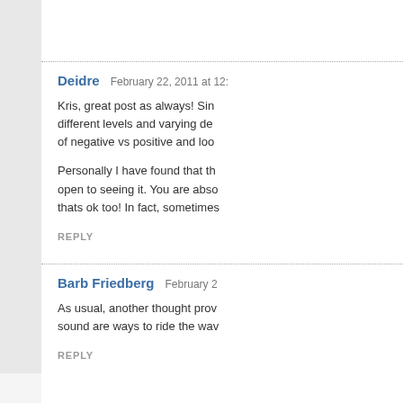Deidre   February 22, 2011 at 12:...
Kris, great post as always! Sin... different levels and varying de... of negative vs positive and loo...
Personally I have found that th... open to seeing it. You are abs... thats ok too! In fact, sometimes...
REPLY
Barb Friedberg   February 2...
As usual, another thought prov... sound are ways to ride the wa...
REPLY